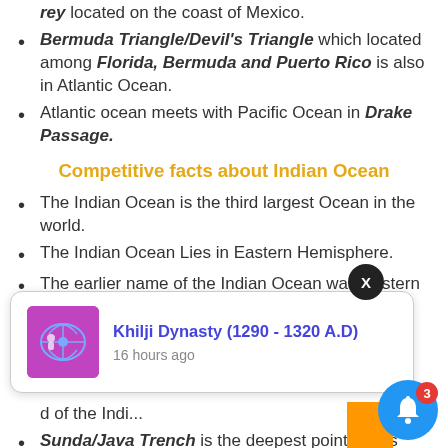Bermuda Triangle/Devil's Triangle which located among Florida, Bermuda and Puerto Rico is also in Atlantic Ocean.
Atlantic ocean meets with Pacific Ocean in Drake Passage.
Competitive facts about Indian Ocean
The Indian Ocean is the third largest Ocean in the world.
The Indian Ocean Lies in Eastern Hemisphere.
The earlier name of the Indian Ocean was Eastern Ocean.
The Bengal Submarine Fan is the largest Submarine fan of the world.
Sunda/Java Trench is the deepest point of this Ocean.